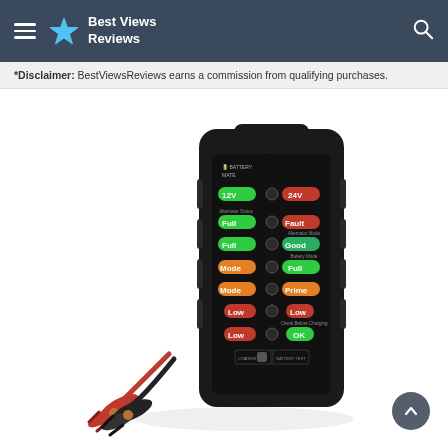Best Views Reviews
*Disclaimer: BestViewsReviews earns a commission from qualifying purchases.
[Figure (photo): A Battery Mate battery tester device with black casing, multiple LED indicator lights showing 12V/24V, Full/Fault, Full/Good, Mode/Full, Mode/Prime, Low/Low, Low/OK labels, and attached red and black alligator clip cables.]